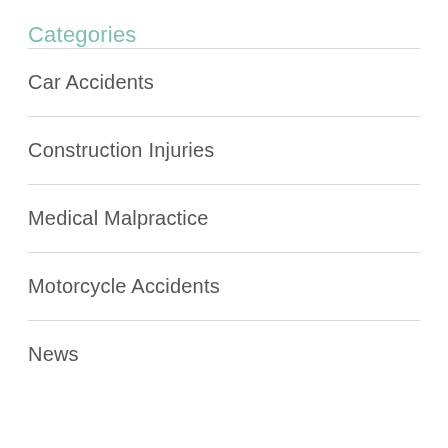Categories
Car Accidents
Construction Injuries
Medical Malpractice
Motorcycle Accidents
News